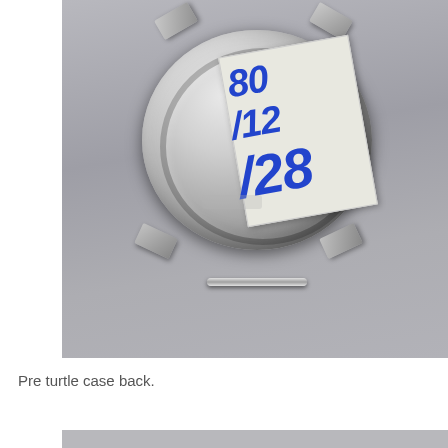[Figure (photo): Photograph of the back of a watch case (pre turtle case back) placed on a gray surface. The stainless steel case back is circular and polished, with four lug tabs visible. A handwritten paper label reading '80/12/28' or similar is taped to the case back. A spring bar is visible at the bottom lug area.]
Pre turtle case back.